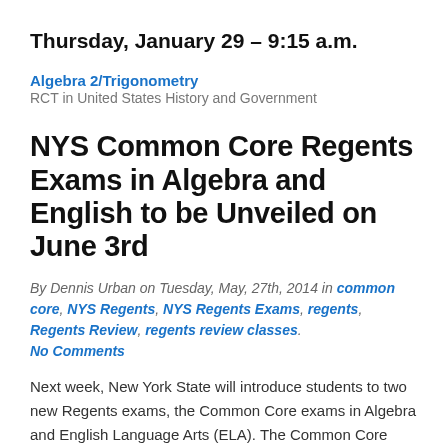Thursday, January 29 – 9:15 a.m.
Algebra 2/Trigonometry
RCT in United States History and Government
NYS Common Core Regents Exams in Algebra and English to be Unveiled on June 3rd
By Dennis Urban on Tuesday, May, 27th, 2014 in common core, NYS Regents, NYS Regents Exams, regents, Regents Review, regents review classes.
No Comments
Next week, New York State will introduce students to two new Regents exams, the Common Core exams in Algebra and English Language Arts (ELA). The Common Core standards movement has swept the country over the past few years, and the initiative claims to emphasize "the